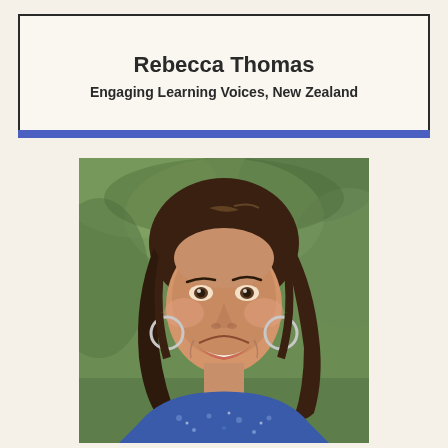Rebecca Thomas
Engaging Learning Voices, New Zealand
[Figure (photo): Headshot photo of Rebecca Thomas, a smiling woman with long brown hair, wearing hoop earrings and a blue patterned top, photographed outdoors with a green background]